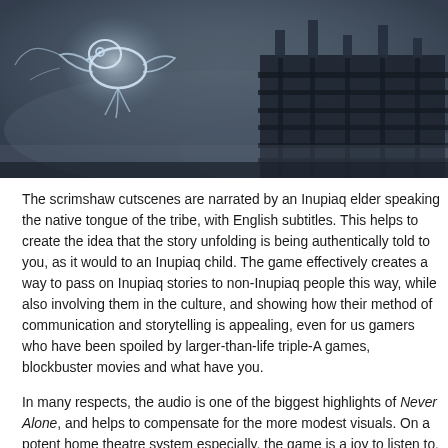[Figure (screenshot): A dark, atmospheric screenshot from a video game showing a glowing white bird-like spirit figure on the left and a mechanical/architectural structure on the right, set against a grey-blue misty background.]
The scrimshaw cutscenes are narrated by an Inupiaq elder speaking the native tongue of the tribe, with English subtitles. This helps to create the idea that the story unfolding is being authentically told to you, as it would to an Inupiaq child. The game effectively creates a way to pass on Inupiaq stories to non-Inupiaq people this way, while also involving them in the culture, and showing how their method of communication and storytelling is appealing, even for us gamers who have been spoiled by larger-than-life triple-A games, blockbuster movies and what have you.
In many respects, the audio is one of the biggest highlights of Never Alone, and helps to compensate for the more modest visuals. On a potent home theatre system especially, the game is a joy to listen to, and really sucks you into the harsh Northern